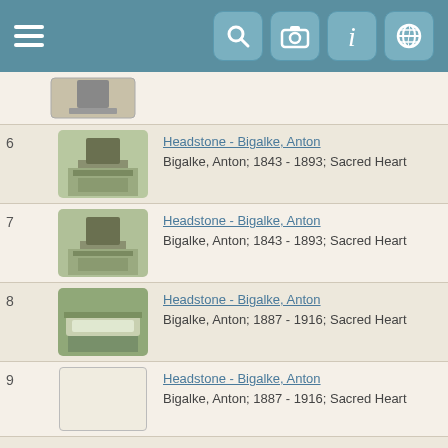Navigation bar with menu, search, camera, info, and globe icons
| # | Image | Description |
| --- | --- | --- |
| 6 | [headstone photo] | Headstone - Bigalke, Anton
Bigalke, Anton; 1843 - 1893; Sacred Heart |
| 7 | [headstone photo] | Headstone - Bigalke, Anton
Bigalke, Anton; 1843 - 1893; Sacred Heart |
| 8 | [headstone photo] | Headstone - Bigalke, Anton
Bigalke, Anton; 1887 - 1916; Sacred Heart |
| 9 | [placeholder] | Headstone - Bigalke, Anton
Bigalke, Anton; 1887 - 1916; Sacred Heart |
| 10 | [placeholder] | Headstone - Bigalke, Barney and Katherine
Bigalke, Barney; 1884 - 1956; Sacred Heart; and Bigalke, Katherine; 1890 - 1935; Sacred Heart |
| 11 | [placeholder] | Headstone - Bigalke, Barney and Katherine
Bigalke, Barney; 1884 - 1956; Sacred Heart; and Bigalke, Katherine; 1890 - 1935; Sacred Heart |
| 12 | [placeholder] | Headstone - Bigalke, John and Rozalia
Bigalke, John; 1873 - 1957; Sacred Heart; and Bigalke, Rozalia; 1876 - 1945; Sacred Heart |
| 13 | [placeholder] | Headstone - Bigalke, John and Rozalia |